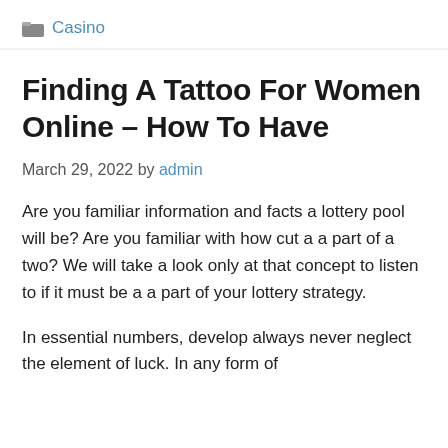Casino
Finding A Tattoo For Women Online – How To Have
March 29, 2022 by admin
Are you familiar information and facts a lottery pool will be? Are you familiar with how cut a a part of a two? We will take a look only at that concept to listen to if it must be a a part of your lottery strategy.
In essential numbers, develop always never neglect the element of luck. In any form of